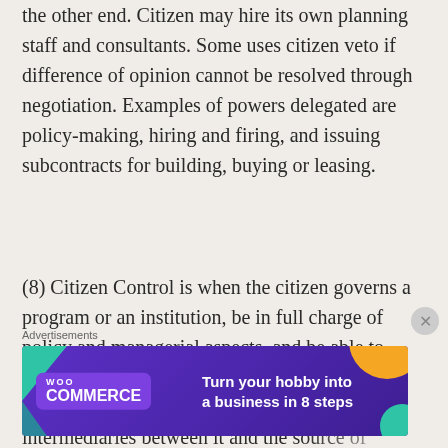the other end. Citizen may hire its own planning staff and consultants. Some uses citizen veto if difference of opinion cannot be resolved through negotiation. Examples of powers delegated are policy-making, hiring and firing, and issuing subcontracts for building, buying or leasing.
(8) Citizen Control is when the citizen governs a program or an institution, be in full charge of policy and managerial aspects, and be able to negotiate the conditions. One example is a neighborhood corporation with no intermediaries between it and the source of
Advertisements
[Figure (infographic): WooCommerce advertisement banner on purple background. Text reads: Turn your hobby into a business in 8 steps. Decorative geometric shapes in teal/green and orange on the sides.]